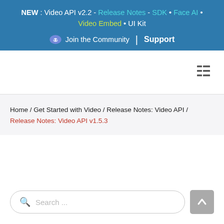NEW : Video API v2.2 - Release Notes - SDK • Face AI • Video Embed • UI Kit
Join the Community | Support
[Figure (other): Hamburger / list menu icon in top-right of navigation bar]
Home / Get Started with Video / Release Notes: Video API / Release Notes: Video API v1.5.3
Search ...